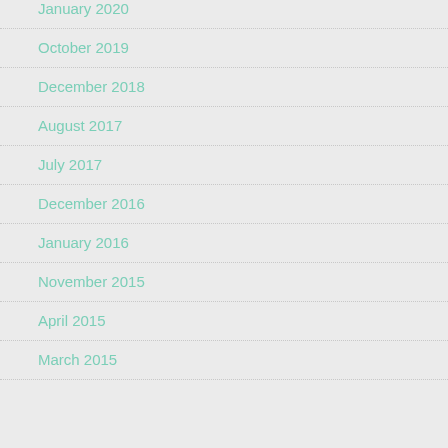January 2020
October 2019
December 2018
August 2017
July 2017
December 2016
January 2016
November 2015
April 2015
March 2015